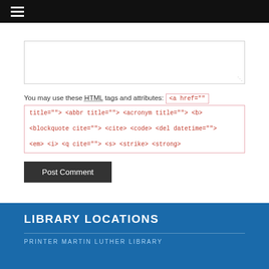☰ (navigation menu icon)
[Figure (screenshot): Empty textarea input box with resize handle in bottom-right corner]
You may use these HTML tags and attributes: <a href="" title=""> <abbr title=""> <acronym title=""> <b> <blockquote cite=""> <cite> <code> <del datetime=""> <em> <i> <q cite=""> <s> <strike> <strong>
Post Comment
LIBRARY LOCATIONS
PRINTER MARTIN LUTHER LIBRARY